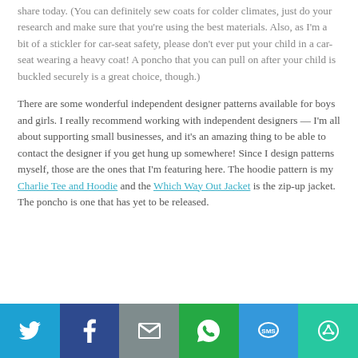share today. (You can definitely sew coats for colder climates, just do your research and make sure that you're using the best materials. Also, as I'm a bit of a stickler for car-seat safety, please don't ever put your child in a car-seat wearing a heavy coat! A poncho that you can pull on after your child is buckled securely is a great choice, though.)
There are some wonderful independent designer patterns available for boys and girls. I really recommend working with independent designers — I'm all about supporting small businesses, and it's an amazing thing to be able to contact the designer if you get hung up somewhere! Since I design patterns myself, those are the ones that I'm featuring here. The hoodie pattern is my Charlie Tee and Hoodie and the Which Way Out Jacket is the zip-up jacket. The poncho is one that has yet to be released.
[Figure (infographic): Social sharing bar with six buttons: Twitter (blue), Facebook (dark blue), Email (grey), WhatsApp (green), SMS (blue), More (teal), each with white icons.]